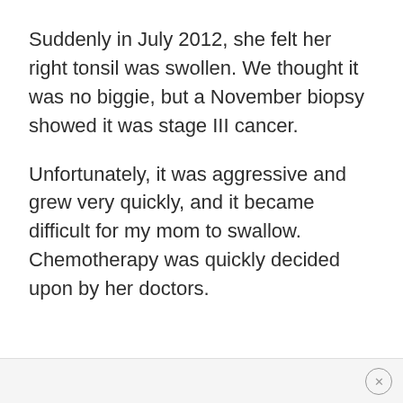Suddenly in July 2012, she felt her right tonsil was swollen. We thought it was no biggie, but a November biopsy showed it was stage III cancer.
Unfortunately, it was aggressive and grew very quickly, and it became difficult for my mom to swallow. Chemotherapy was quickly decided upon by her doctors.